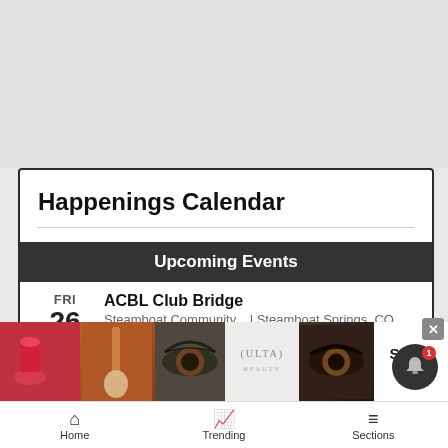Happenings Calendar
Upcoming Events
FRI 26 ACBL Club Bridge — Steamboat Community... | Steamboat Springs, CO
FRI 26 Naturalists at Fish Creek Falls — Fish Creek Falls | Steamboat Springs, CO
FRI 26 (partial, cut off)
[Figure (screenshot): Ulta Beauty advertisement banner with lipstick, makeup brush, eye, Ulta logo, model eye, and SHOP NOW call to action]
Home   Trending   Sections